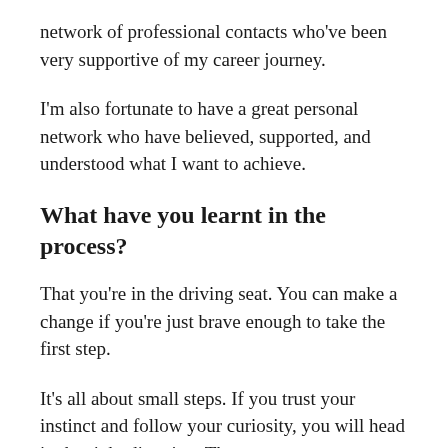network of professional contacts who've been very supportive of my career journey.
I'm also fortunate to have a great personal network who have believed, supported, and understood what I want to achieve.
What have you learnt in the process?
That you're in the driving seat. You can make a change if you're just brave enough to take the first step.
It's all about small steps. If you trust your instinct and follow your curiosity, you will head in the right direction. There are no wrong turns as long as you